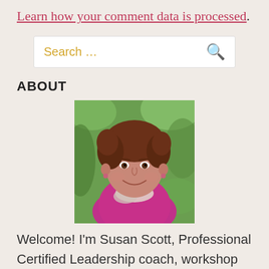Learn how your comment data is processed.
Search …
ABOUT
[Figure (photo): Headshot of Susan Scott, a woman with short curly brown hair, smiling, wearing a magenta/pink top and scarf, photographed outdoors with green foliage background.]
Welcome! I'm Susan Scott, Professional Certified Leadership coach, workshop